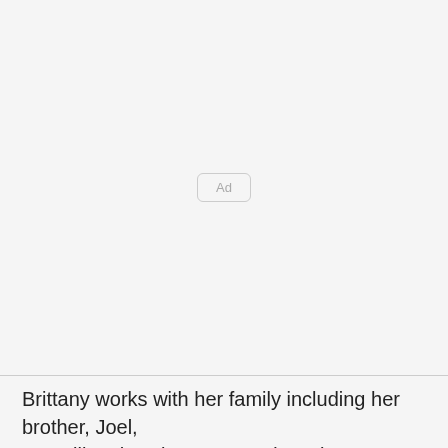[Figure (other): Advertisement placeholder box with 'Ad' label centered in a large light gray area]
Brittany works with her family including her brother, Joel, … Calling the Big Farmstead Cookware & St…